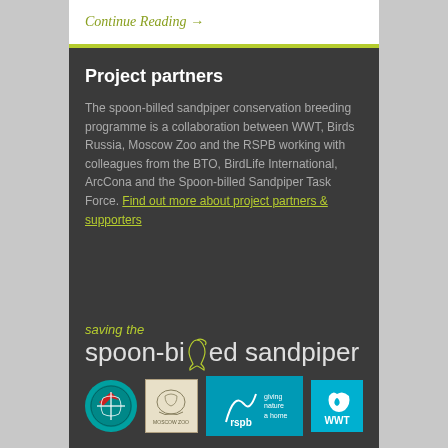Continue Reading →
Project partners
The spoon-billed sandpiper conservation breeding programme is a collaboration between WWT, Birds Russia, Moscow Zoo and the RSPB working with colleagues from the BTO, BirdLife International, ArcCona and the Spoon-billed Sandpiper Task Force. Find out more about project partners & supporters
[Figure (logo): Saving the spoon-billed sandpiper branding with bird silhouette and partner logos: BTO, Moscow Zoo, RSPB giving nature a home, WWT]